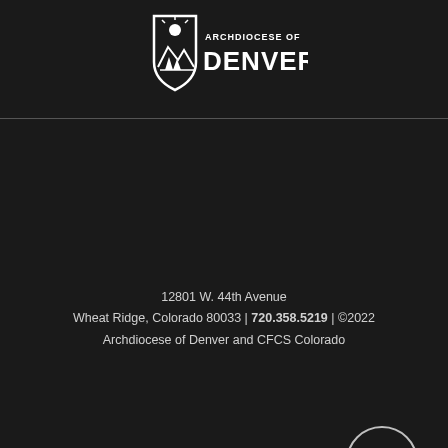[Figure (logo): Archdiocese of Denver logo - white shield/crest icon with mountains and text 'ARCHDIOCESE OF DENVER' in bold white font on dark background]
12801 W. 44th Avenue
Wheat Ridge, Colorado 80033 | 720.358.5219 | ©2022 Archdiocese of Denver and CFCS Colorado
Blog
[Figure (illustration): Circular up-arrow button outline in white/light gray]